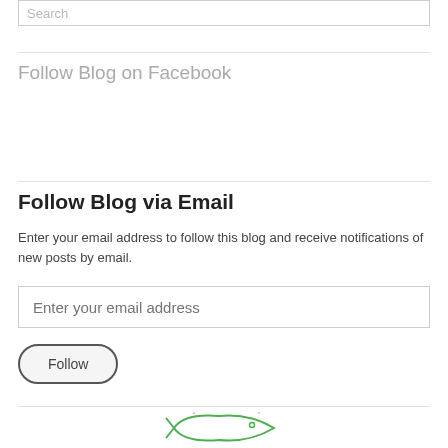Search
Follow Blog on Facebook
Follow Blog via Email
Enter your email address to follow this blog and receive notifications of new posts by email.
Enter your email address
Follow
[Figure (logo): Green fish logo outline at bottom of page]